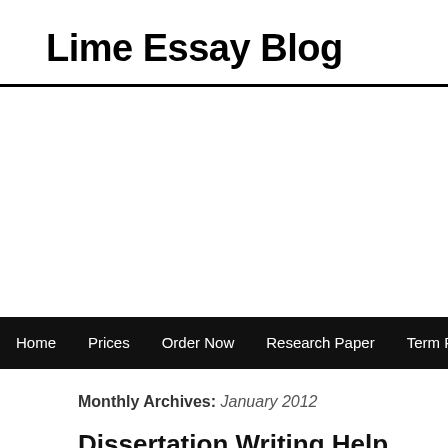Lime Essay Blog
Home   Prices   Order Now   Research Paper   Term Paper   D...
Monthly Archives: January 2012
Dissertation Writing Help